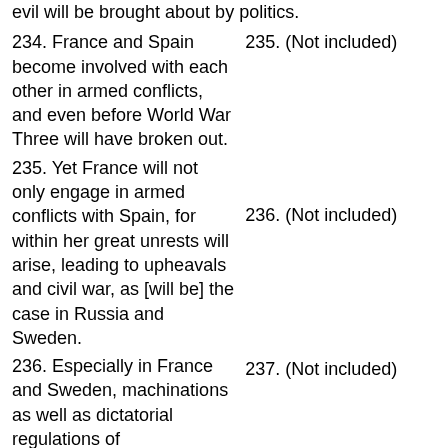evil will be brought about by politics.
234. France and Spain become involved with each other in armed conflicts, and even before World War Three will have broken out.
235. (Not included)
235. Yet France will not only engage in armed conflicts with Spain, for within her great unrests will arise, leading to upheavals and civil war, as [will be] the case in Russia and Sweden.
236. (Not included)
236. Especially in France and Sweden, machinations as well as dictatorial regulations of
237. (Not included)